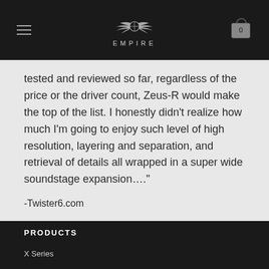[Figure (logo): Empire Ears logo with winged emblem and EMPIRE text in navigation bar]
tested and reviewed so far, regardless of the price or the driver count, Zeus-R would make the top of the list. I honestly didn’t realize how much I’m going to enjoy such level of high resolution, layering and separation, and retrieval of details all wrapped in a super wide soundstage expansion….”
-Twister6.com
PRODUCTS
X Series
EP Series
Accessories